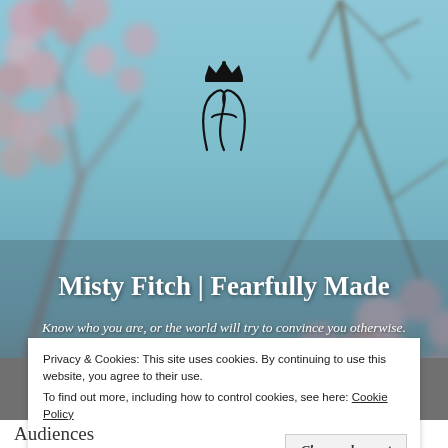[Figure (photo): Hero banner with blurred cherry blossom branches and flowers against a teal/blue-gray sky background, with a decorative crown-and-monogram logo mark in the center top area.]
Misty Fitch | Fearfully Made
Know who you are, or the world will try to convince you otherwise.
Privacy & Cookies: This site uses cookies. By continuing to use this website, you agree to their use.
To find out more, including how to control cookies, see here: Cookie Policy
Close and accept
Audiences